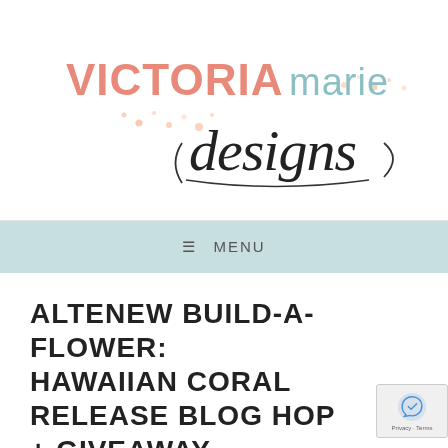[Figure (logo): Victoria Marie Designs logo with coral/pink 'VICTORIA' text, teal 'marie' text, and cursive 'designs' text with decorative dots and swirls]
≡ MENU
ALTENEW BUILD-A-FLOWER: HAWAIIAN CORAL RELEASE BLOG HOP + GIVEAWAY